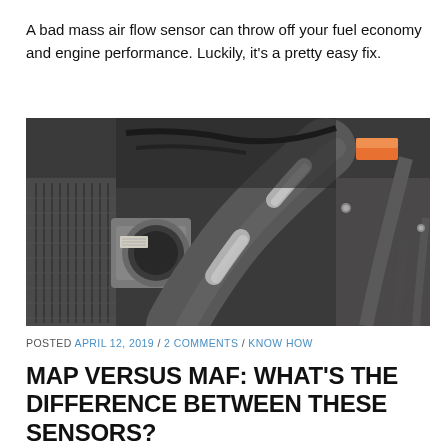A bad mass air flow sensor can throw off your fuel economy and engine performance. Luckily, it's a pretty easy fix.
[Figure (photo): Close-up photograph of a car engine bay showing a mass air flow sensor housing with plastic intake tubing, air filter on the left, and various engine hoses and components visible.]
POSTED APRIL 12, 2019 / 2 COMMENTS / KNOW HOW
MAP VERSUS MAF: WHAT'S THE DIFFERENCE BETWEEN THESE SENSORS?